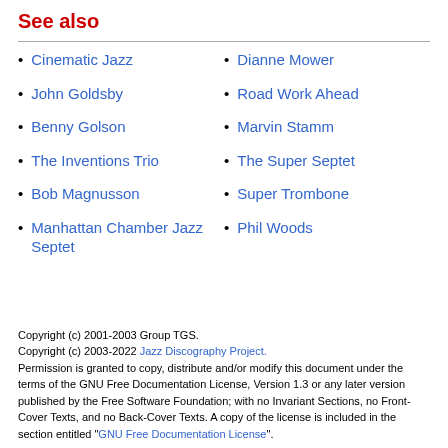See also
Cinematic Jazz
John Goldsby
Benny Golson
The Inventions Trio
Bob Magnusson
Manhattan Chamber Jazz Septet
Dianne Mower
Road Work Ahead
Marvin Stamm
The Super Septet
Super Trombone
Phil Woods
Copyright (c) 2001-2003 Group TGS.
Copyright (c) 2003-2022 Jazz Discography Project.
Permission is granted to copy, distribute and/or modify this document under the terms of the GNU Free Documentation License, Version 1.3 or any later version published by the Free Software Foundation; with no Invariant Sections, no Front-Cover Texts, and no Back-Cover Texts. A copy of the license is included in the section entitled "GNU Free Documentation License".